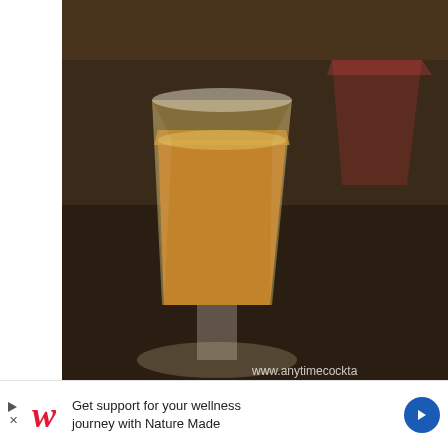[Figure (photo): A sidecar cocktail in a crystal glass with an amber/orange colored drink on a dark surface, with another glass visible in background. Watermark text 'www.anytimecockta' visible in lower right corner.]
Sidecar Cocktail Recipe
[Figure (photo): A pink cocktail in a lowball glass with a pink paper umbrella garnish. Captain Morgan rum bottle visible on the left, a red bottle (PA/POM) on the right. Beige/tan background.]
Get support for your wellness journey with Nature Made